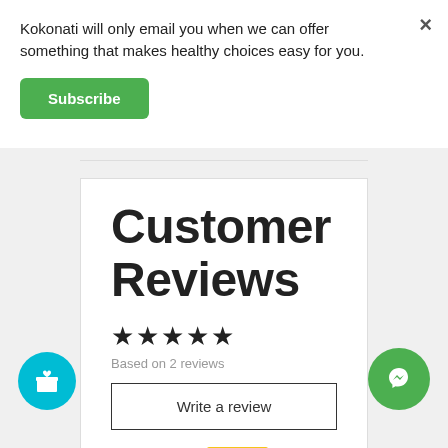Kokonati will only email you when we can offer something that makes healthy choices easy for you.
Subscribe
Customer Reviews
★★★★★
Based on 2 reviews
Write a review
★★★★★  100% (2)